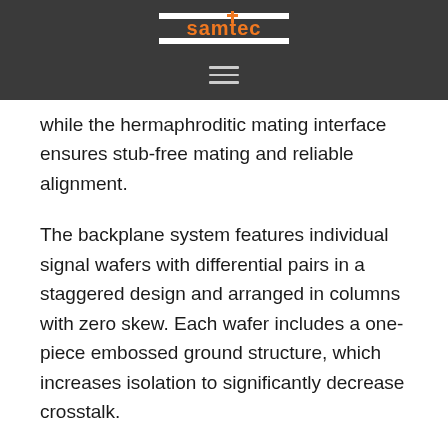Samtec [logo]
while the hermaphroditic mating interface ensures stub-free mating and reliable alignment.
The backplane system features individual signal wafers with differential pairs in a staggered design and arranged in columns with zero skew. Each wafer includes a one-piece embossed ground structure, which increases isolation to significantly decrease crosstalk.
For more information visit samtec...